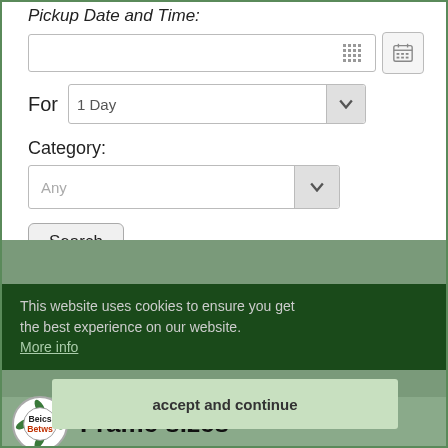Pickup Date and Time:
[Figure (screenshot): Date input field with calendar icon and grid dots, and a calendar button on the right]
For   1 Day
Category:
Any (dropdown)
Search
This website uses cookies to ensure you get the best experience on our website.
More info
Frame size guide
accept and continue
[Figure (logo): Beics Betws logo circular badge with leaf motifs]
Frame sizes